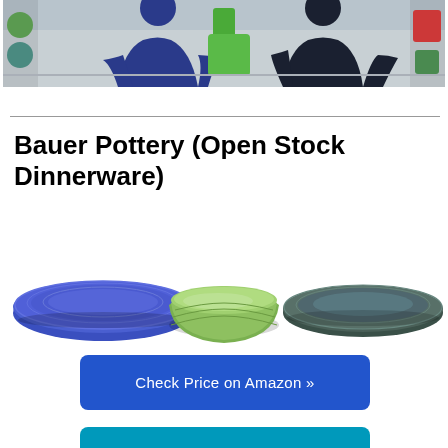[Figure (photo): Two people in a room, one in a blue sweater and one in dark clothing, appearing to exchange or examine a green item. Shelving with colorful items visible in the background.]
Bauer Pottery (Open Stock Dinnerware)
[Figure (photo): Three pieces of Bauer Pottery dinnerware: a blue ribbed plate on the left, a green ribbed bowl in the center, and a teal/sage green flat plate on the right, all on white background.]
Check Price on Amazon  »